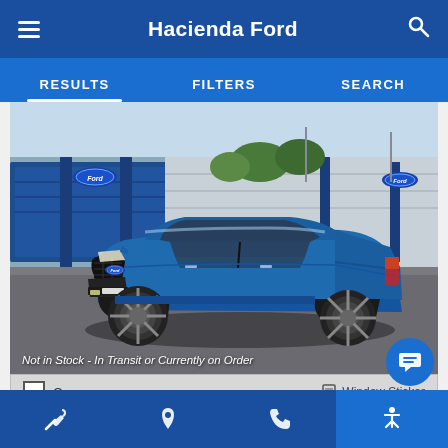Hacienda Ford
RESULTS  FILTERS  SEARCH
[Figure (photo): Blue Ford F-150 pickup truck (Atlas Blue Metallic) photographed in a dealership lot in front of blue and silver freight containers. The truck is a crew cab model shown from a front 3/4 angle.]
Not in Stock - In Transit or Currently on Order
Compare
Window Sticker
Ext: Atlas Blue Metallic